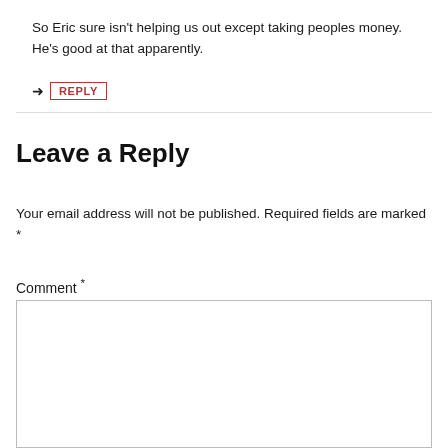So Eric sure isn't helping us out except taking peoples money. He's good at that apparently.
→ REPLY
Leave a Reply
Your email address will not be published. Required fields are marked *
Comment *